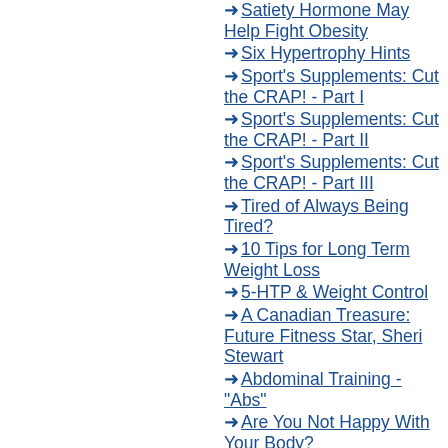→ Satiety Hormone May Help Fight Obesity
→ Six Hypertrophy Hints
→ Sport's Supplements: Cut the CRAP! - Part I
→ Sport's Supplements: Cut the CRAP! - Part II
→ Sport's Supplements: Cut the CRAP! - Part III
→ Tired of Always Being Tired?
→ 10 Tips for Long Term Weight Loss
→ 5-HTP & Weight Control
→ A Canadian Treasure: Future Fitness Star, Sheri Stewart
→ Abdominal Training - "Abs"
→ Are You Not Happy With Your Body?
→ Body For Life vs. Burn The Fat, Feed the Muscle
→ Congress to Ban Steroid Precursors (Prohormones) in Early 2003